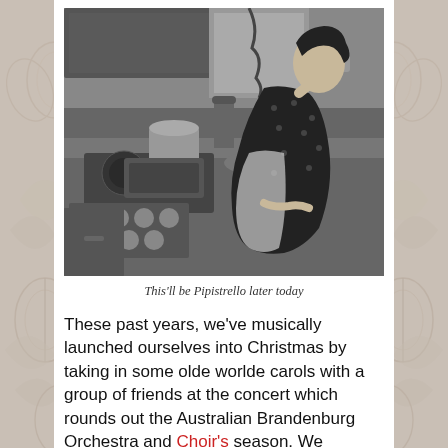[Figure (photo): Black and white photograph of a woman in a polka dot dress and apron cooking at a kitchen stove, holding a pan, with pots and baking trays visible. Vintage 1940s-1950s style kitchen.]
This'll be Pipistrello later today
These past years, we've musically launched ourselves into Christmas by taking in some olde worlde carols with a group of friends at the concert which rounds out the Australian Brandenburg Orchestra and Choir's season. We regrettably missed 2017, so Mr. P and I were determined not to miss